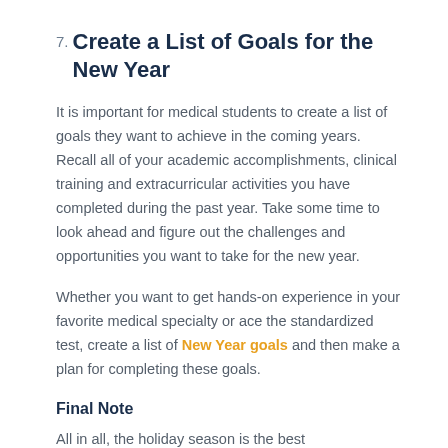7. Create a List of Goals for the New Year
It is important for medical students to create a list of goals they want to achieve in the coming years. Recall all of your academic accomplishments, clinical training and extracurricular activities you have completed during the past year. Take some time to look ahead and figure out the challenges and opportunities you want to take for the new year.
Whether you want to get hands-on experience in your favorite medical specialty or ace the standardized test, create a list of New Year goals and then make a plan for completing these goals.
Final Note
All in all, the holiday season is the best